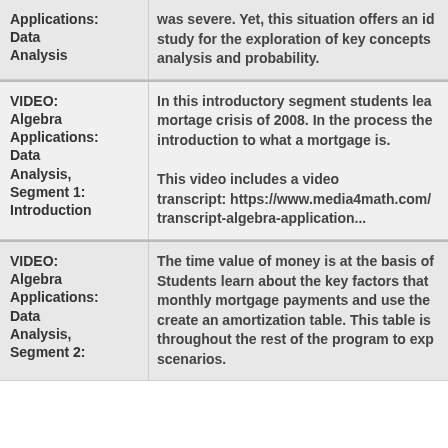| Resource | Description |
| --- | --- |
| Applications:
Data
Analysis | was severe. Yet, this situation offers an ideal case
study for the exploration of key concepts in data
analysis and probability. |
| VIDEO:
Algebra
Applications:
Data
Analysis,
Segment 1:
Introduction | In this introductory segment students learn about the
mortage crisis of 2008. In the process they get an
introduction to what a mortgage is.

This video includes a video
transcript: https://www.media4math.com/
transcript-algebra-application... |
| VIDEO:
Algebra
Applications:
Data
Analysis,
Segment 2: | The time value of money is at the basis of...
Students learn about the key factors that influence
monthly mortgage payments and use the...
create an amortization table. This table is...
throughout the rest of the program to exp...
scenarios. |